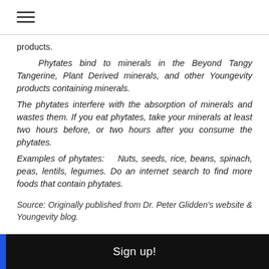☰
products.

Phytates bind to minerals in the Beyond Tangy Tangerine, Plant Derived minerals, and other Youngevity products containing minerals.
The phytates interfere with the absorption of minerals and wastes them. If you eat phytates, take your minerals at least two hours before, or two hours after you consume the phytates.
Examples of phytates:    Nuts, seeds, rice, beans, spinach, peas, lentils, legumes. Do an internet search to find more foods that contain phytates.
Source: Originally published from Dr. Peter Glidden's website & Youngevity blog.
Sign up!